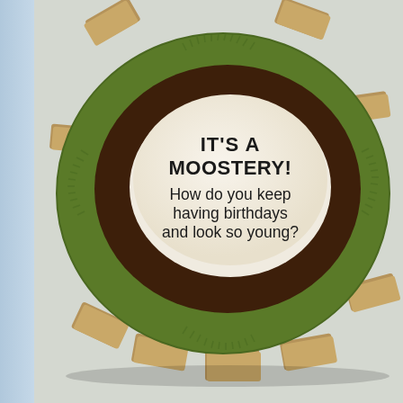[Figure (photo): A handcrafted birthday card shaped like a turtle (moose?), made from layered cardboard/kraft paper. The card has a green embossed circular top layer with decorative leaf patterns, a dark brown inner oval ring, and a cream/ivory center oval. Rectangular tabs extend from the edges like turtle legs/flippers. The center oval contains printed text reading 'IT'S A MOOSTERY! How do you keep having birthdays and look so young?' in bold black font. The card sits on a light grey/white surface. A light blue-grey strip is visible on the left edge of the image.]